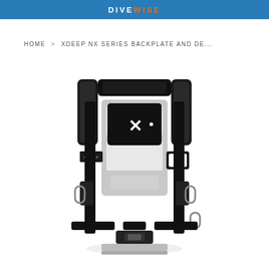DIVEWISE
HOME > XDEEP NX SERIES BACKPLATE AND DE...
[Figure (photo): XDeep NX Series backplate and harness system displayed front-facing. The harness features black webbing straps, black padded shoulder straps, a silver/aluminum backplate with XDeep logo, D-rings on the sides, a waist strap with buckle, and an 'NX' branded module. The backplate has a distinctive cut-out design.]